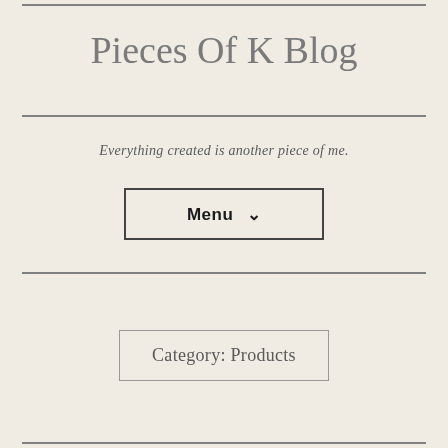Pieces Of K Blog
Everything created is another piece of me.
Menu ˅
Category: Products